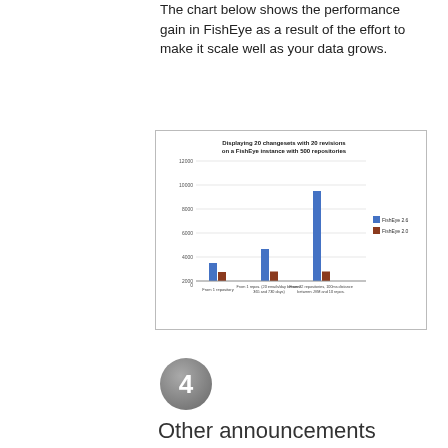The chart below shows the performance gain in FishEye as a result of the effort to make it scale well as your data grows.
[Figure (grouped-bar-chart): Displaying 20 changesets with 20 revisions on a FishEye instance with 500 repositories]
4
Other announcements